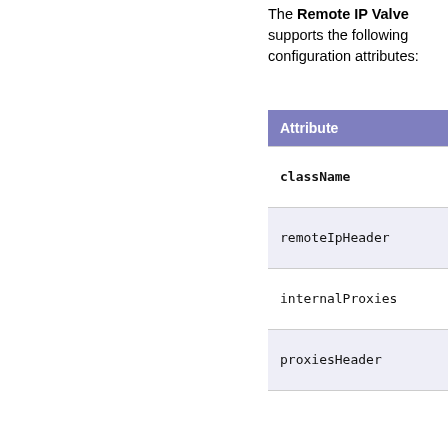The Remote IP Valve supports the following configuration attributes:
| Attribute |
| --- |
| className |
| remoteIpHeader |
| internalProxies |
| proxiesHeader |